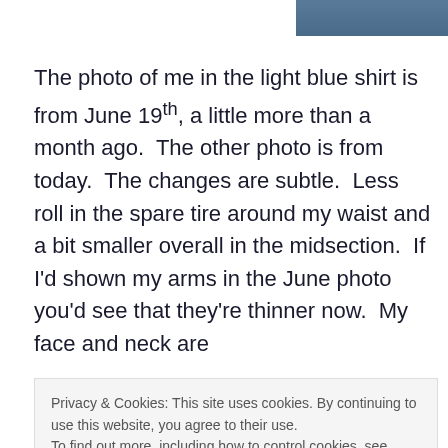[Figure (photo): Partial photo strip at top of page showing a person, cropped at the top edge]
The photo of me in the light blue shirt is from June 19th, a little more than a month ago.  The other photo is from today.  The changes are subtle.  Less roll in the spare tire around my waist and a bit smaller overall in the midsection.  If I'd shown my arms in the June photo you'd see that they're thinner now.  My face and neck are
Privacy & Cookies: This site uses cookies. By continuing to use this website, you agree to their use.
To find out more, including how to control cookies, see here: Cookie Policy